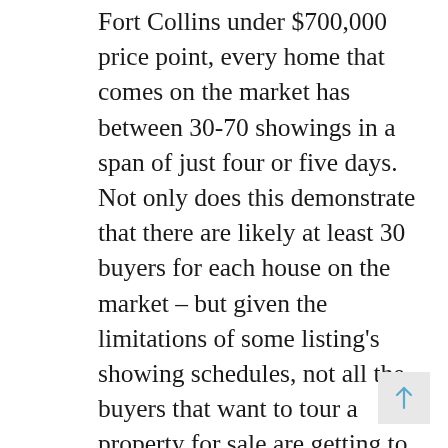Fort Collins under $700,000 price point, every home that comes on the market has between 30-70 showings in a span of just four or five days. Not only does this demonstrate that there are likely at least 30 buyers for each house on the market – but given the limitations of some listing's showing schedules, not all the buyers that want to tour a property for sale are getting to see the house before an offer is accepted.
“This is creating a log-jam of want-to-be home owners willing to offer tens of thousands of dollars over the original asking price of a property just